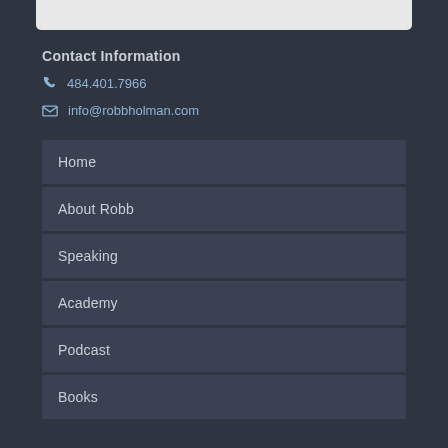Contact Information
📞 484.401.7966
✉ info@robbholman.com
Home
About Robb
Speaking
Academy
Podcast
Books